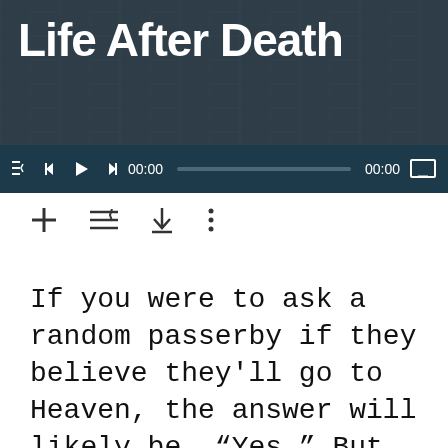[Figure (screenshot): Media player interface showing 'Life After Death' podcast/video player with dark teal background, playback controls bar showing 00:00 timestamps and progress bar]
[Figure (screenshot): Toolbar with plus, list, download, and more-options (three dots) icons]
If you were to ask a random passerby if they believe they'll go to Heaven, the answer will likely be, “Yes.” But is that just a comforting story that people tell themselves? How can we be